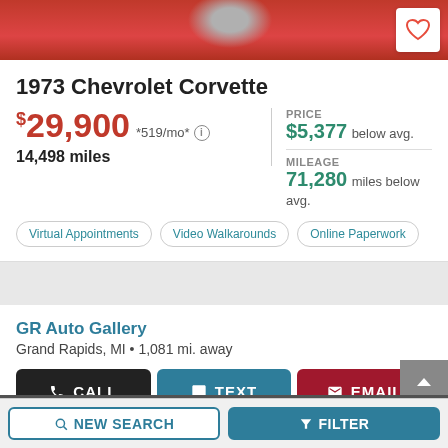[Figure (photo): Top portion of a red Chevrolet Corvette car photo]
1973 Chevrolet Corvette
$29,900 *519/mo* • 14,498 miles
PRICE $5,377 below avg.
MILEAGE 71,280 miles below avg.
Virtual Appointments
Video Walkarounds
Online Paperwork
GR Auto Gallery
Grand Rapids, MI • 1,081 mi. away
CALL  TEXT  EMAIL
Carsforsale.com may record phone calls for business purposes, by calling you agree to Carsforsale.com's Terms and Conditions of Use and Privacy Policy
NEW SEARCH   FILTER